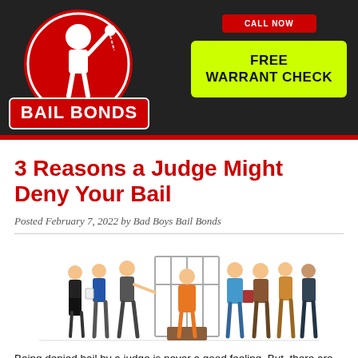[Figure (logo): Bad Boys Bail Bonds logo with cartoon figure holding a ball and chain, red circular badge with 'BAIL BONDS' text in red and white]
[Figure (infographic): Yellow-green button with black bold text: FREE WARRANT CHECK]
3 Reasons a Judge Might Deny Your Bail
Posted February 7, 2022 by Bad Boys Bail Bonds
[Figure (illustration): Cartoon illustration showing a group of people on the left side facing a prisoner in an orange jumpsuit behind bars, with a guard and more people on the right side]
Being denied bail by a judge is never a good feeling. But, there are three reasons a judge might deny someone from getting bail. The